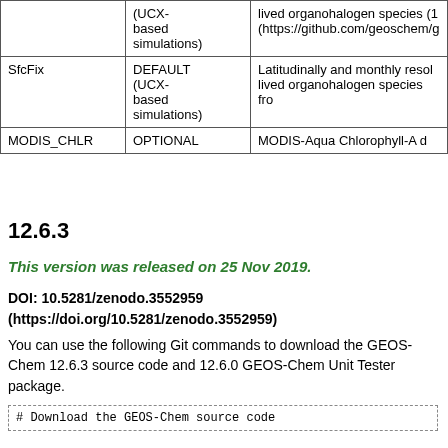|  |  |  |
| --- | --- | --- |
|  | (UCX-based simulations) | lived organohalogen species (1
(https://github.com/geoschem/g |
| SfcFix | DEFAULT (UCX-based simulations) | Latitudinally and monthly resol lived organohalogen species fro |
| MODIS_CHLR | OPTIONAL | MODIS-Aqua Chlorophyll-A d |
12.6.3
This version was released on 25 Nov 2019.
DOI: 10.5281/zenodo.3552959
(https://doi.org/10.5281/zenodo.3552959)
You can use the following Git commands to download the GEOS-Chem 12.6.3 source code and 12.6.0 GEOS-Chem Unit Tester package.
# Download the GEOS-Chem source code